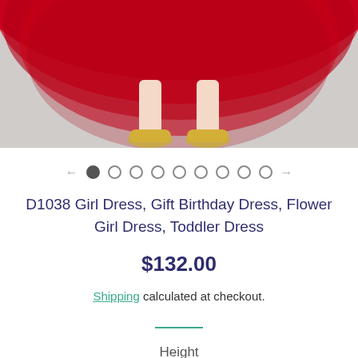[Figure (photo): Bottom portion of a child wearing a red tulle/layered dress and gold flat shoes, standing on a light gray background. Only the skirt and feet are visible.]
← ● ○ ○ ○ ○ ○ ○ ○ ○ →
D1038 Girl Dress, Gift Birthday Dress, Flower Girl Dress, Toddler Dress
$132.00
Shipping calculated at checkout.
Height